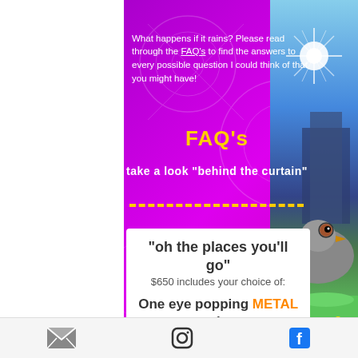What happens if it rains? Please read through the FAQ's to find the answers to every possible question I could think of that you might have!
FAQ's
take a look "behind the curtain"
"oh the places you'll go"
$650 includes your choice of:

One eye popping METAL print
of your favorite portrait, fully retouched
[Figure (illustration): Decorative purple background with floral patterns, photo strip on right showing bright sunburst light and a close-up of a duck/bird face in grass]
Email | Instagram | Facebook social media icons